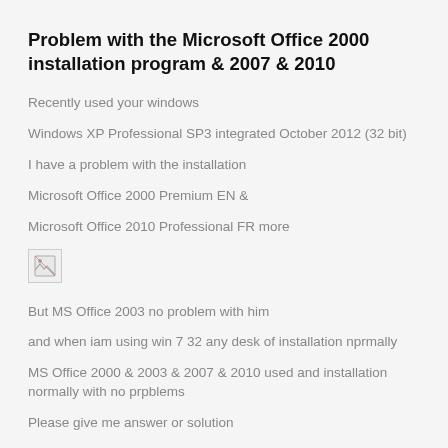Problem with the Microsoft Office 2000 installation program &amp; 2007 &amp; 2010
Recently used your windows
Windows XP Professional SP3 integrated October 2012 (32 bit)
I have a problem with the installation
Microsoft Office 2000 Premium EN &
Microsoft Office 2010 Professional FR more
[Figure (photo): Broken/missing image placeholder]
But MS Office 2003 no problem with him
and when iam using win 7 32 any desk of installation nprmally
MS Office 2000 & 2003 & 2007 & 2010 used and installation normally with no prpblems
Please give me answer or solution
Thank you
Just a troubled life